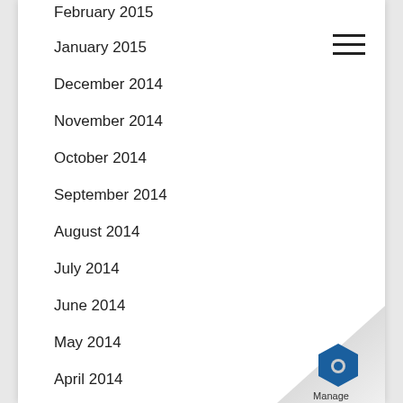February 2015
January 2015
December 2014
November 2014
October 2014
September 2014
August 2014
July 2014
June 2014
May 2014
April 2014
[Figure (logo): Manage engine/software logo with hexagonal icon at bottom right corner with page curl effect]